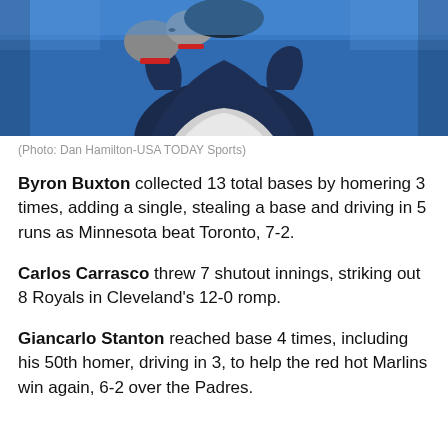[Figure (photo): Baseball player in navy uniform batting or running, wearing Under Armour batting gloves, photographed against a blue stadium background. Photo credit: Dan Hamilton-USA TODAY Sports.]
(Photo: Dan Hamilton-USA TODAY Sports)
Byron Buxton collected 13 total bases by homering 3 times, adding a single, stealing a base and driving in 5 runs as Minnesota beat Toronto, 7-2.
Carlos Carrasco threw 7 shutout innings, striking out 8 Royals in Cleveland's 12-0 romp.
Giancarlo Stanton reached base 4 times, including his 50th homer, driving in 3, to help the red hot Marlins win again, 6-2 over the Padres.